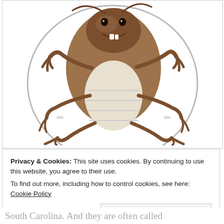[Figure (illustration): Cartoon illustration of a anthropomorphic cockroach character standing upright with exaggerated features, large brown shell/body, white underbelly segments, multiple jointed legs, clawed feet, and a grinning face. Set against a white background with circular shadow.]
Privacy & Cookies: This site uses cookies. By continuing to use this website, you agree to their use. To find out more, including how to control cookies, see here: Cookie Policy
Close and accept
South Carolina. And they are often called